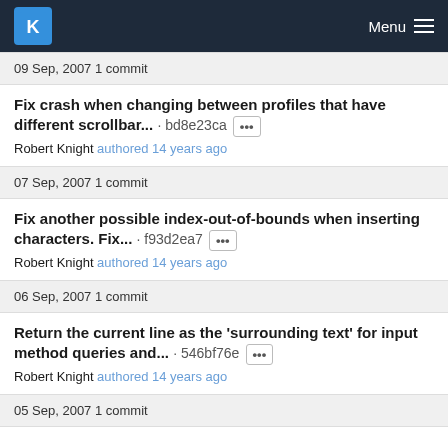KDE Menu
09 Sep, 2007 1 commit
Fix crash when changing between profiles that have different scrollbar... · bd8e23ca Robert Knight authored 14 years ago
07 Sep, 2007 1 commit
Fix another possible index-out-of-bounds when inserting characters. Fix... · f93d2ea7 Robert Knight authored 14 years ago
06 Sep, 2007 1 commit
Return the current line as the 'surrounding text' for input method queries and... · 546bf76e Robert Knight authored 14 years ago
05 Sep, 2007 1 commit